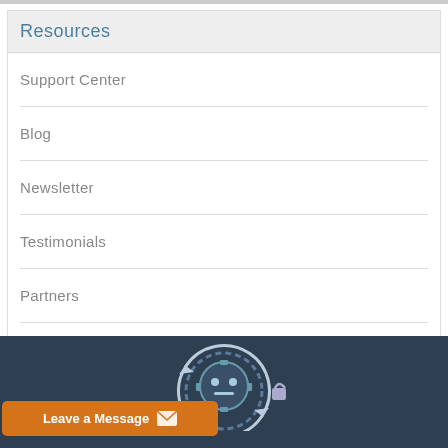Resources
Support Center
Blog
Newsletter
Testimonials
Partners
[Figure (illustration): Dark navy footer section with a robot/gear illustration and an orange 'Leave a Message' button with envelope icon]